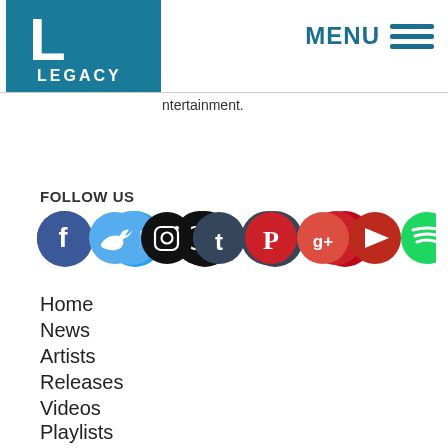[Figure (logo): Legacy Recordings logo — white letter L on teal/dark blue background with LEGACY text below]
MENU
ntertainment.
FOLLOW US
[Figure (infographic): Row of social media icon circles: Facebook (dark blue), Twitter (light blue), Instagram (black), Tumblr (dark slate), Pinterest (red), Google+ (red-orange), YouTube/Play (dark red), Spotify (green)]
Home
News
Artists
Releases
Videos
Playlists